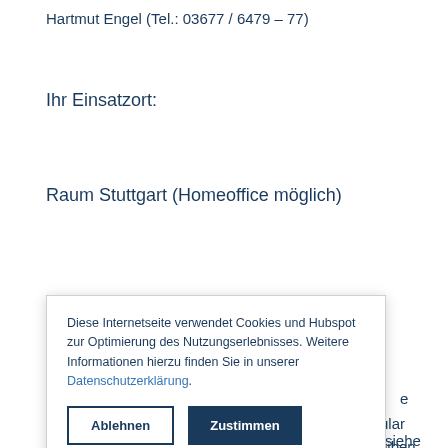Hartmut Engel (Tel.: 03677 / 6479 – 77)
Ihr Einsatzort:
Raum Stuttgart (Homeoffice möglich)
Diese Internetseite verwendet Cookies und Hubspot zur Optimierung des Nutzungserlebnisses. Weitere Informationen hierzu finden Sie in unserer Datenschutzerklärung.
Ablehnen  Zustimmen